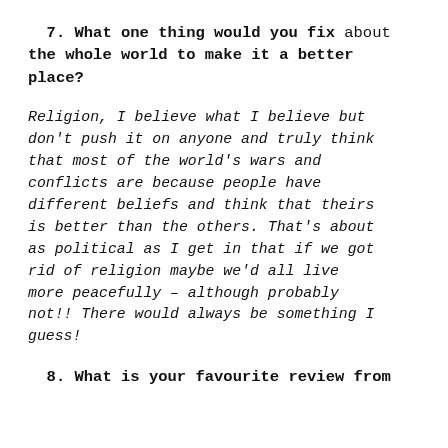7. What one thing would you fix about the whole world to make it a better place?
Religion, I believe what I believe but don't push it on anyone and truly think that most of the world's wars and conflicts are because people have different beliefs and think that theirs is better than the others. That's about as political as I get in that if we got rid of religion maybe we'd all live more peacefully – although probably not!! There would always be something I guess!
8. What is your favourite review from